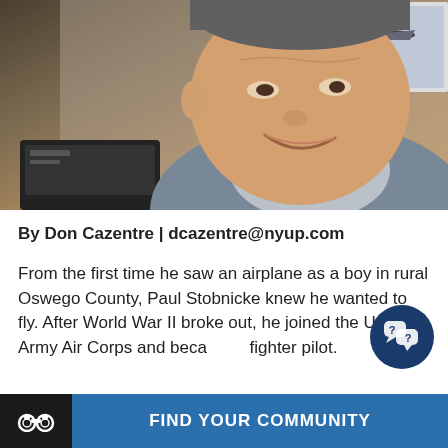[Figure (photo): Elderly man smiling at the camera, seated indoors with a framed aviation picture on the wall behind him and a dark electronic device to the left.]
By Don Cazentre | dcazentre@nyup.com
From the first time he saw an airplane as a boy in rural Oswego County, Paul Stobnicke knew he wanted to fly. After World War II broke out, he joined the U.S. Army Air Corps and became a fighter pilot.
FIND YOUR COMMUNITY